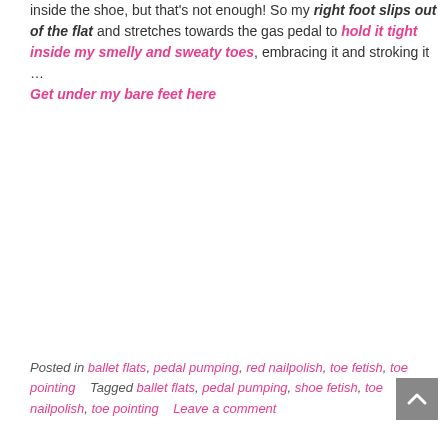inside the shoe, but that's not enough! So my right foot slips out of the flat and stretches towards the gas pedal to hold it tight inside my smelly and sweaty toes, embracing it and stroking it ... Get under my bare feet here
Posted in ballet flats, pedal pumping, red nailpolish, toe fetish, toe pointing   Tagged ballet flats, pedal pumping, shoe fetish, toe nailpolish, toe pointing   Leave a comment